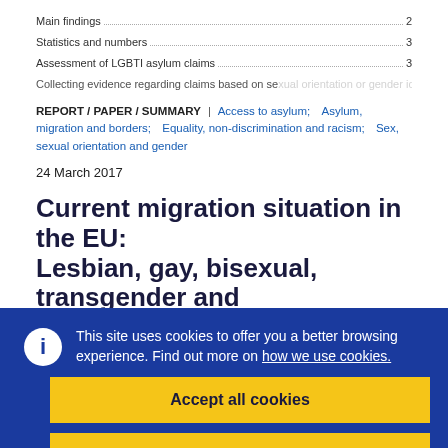Main findings.....2
Statistics and numbers.....3
Assessment of LGBTI asylum claims.....3
Collecting evidence regarding claims based on sexual orientation or gender identity...
REPORT / PAPER / SUMMARY | Access to asylum; Asylum, migration and borders; Equality, non-discrimination and racism; Sex, sexual orientation and gender
24 March 2017
Current migration situation in the EU: Lesbian, gay, bisexual, transgender and
This site uses cookies to offer you a better browsing experience. Find out more on how we use cookies.
Accept all cookies
Accept only essential cookies